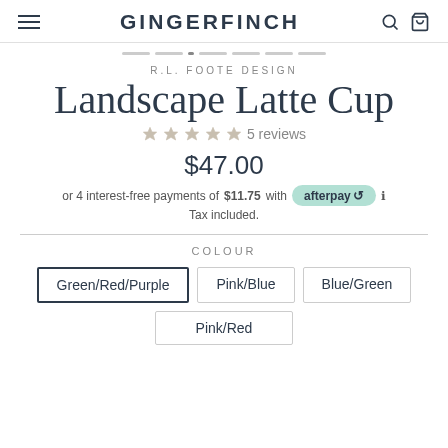GINGERFINCH
R.L. FOOTE DESIGN
Landscape Latte Cup
5 reviews
$47.00
or 4 interest-free payments of $11.75 with afterpay
Tax included.
COLOUR
Green/Red/Purple
Pink/Blue
Blue/Green
Pink/Red